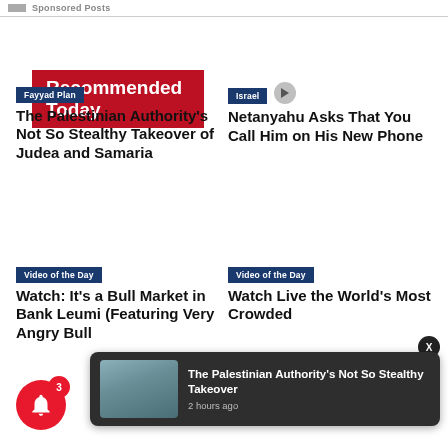Sponsored Posts
Recommended Today
Fayyad Plan
The Palestinian Authority's Not So Stealthy Takeover of Judea and Samaria
Israel
Netanyahu Asks That You Call Him on His New Phone
Video of the Day
Watch: It's a Bull Market in Bank Leumi (Featuring Very Angry Bull
Video of the Day
Watch Live the World's Most Crowded
The Palestinian Authority's Not So Stealthy Takeover
2 hours ago